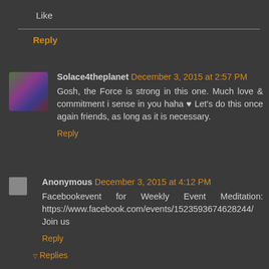Like
Reply
Solace4theplanet December 3, 2015 at 2:57 PM
Gosh, the Force is strong in this one. Much love & commitment i sense in you haha ♥ Let's do this once again friends, as long as it is necessary.
Reply
Anonymous December 3, 2015 at 4:12 PM
Facebookevent for Weekly Event Meditation: https://www.facebook.com/events/1523593674628244/ Join us
Reply
▽ Replies